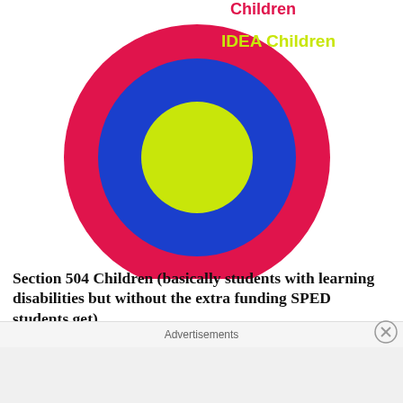[Figure (illustration): Concentric circles diagram (bullseye): outermost ring is red/pink, middle ring is blue, innermost circle is yellow-green. Text labels 'Section 504 Children' in red at top right, 'IDEA Children' in yellow/gold at right middle area.]
Section 504 Children (basically students with learning disabilities but without the extra funding SPED students get)
While I was at LDOE I designed a system to capture the 504 status for students in Louisiana.  By now we have 2 or three years of data.  From my discussions with the state liaisons and they came up with i...